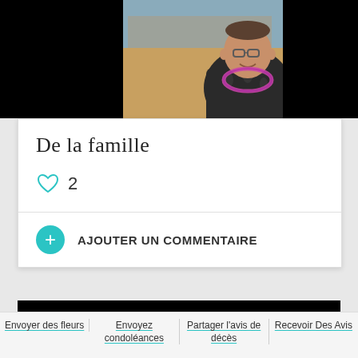[Figure (photo): Photo of a man wearing a floral lei and dark Hawaiian shirt, seated at an outdoor beach setting]
De la famille
2
AJOUTER UN COMMENTAIRE
[Figure (photo): Partial photo, black background visible]
Envoyer des fleurs
Envoyez condoléances
Partager l'avis de décès
Recevoir Des Avis